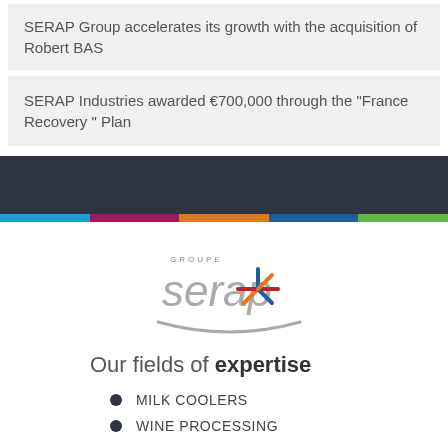SERAP Group accelerates its growth with the acquisition of Robert BAS
SERAP Industries awarded €700,000 through the "France Recovery " Plan
[Figure (logo): Groupe SERAP logo with snowflake/asterisk icon in blue, red, and orange colors, with a grey swoosh arc underneath the text]
Our fields of expertise
MILK COOLERS
WINE PROCESSING